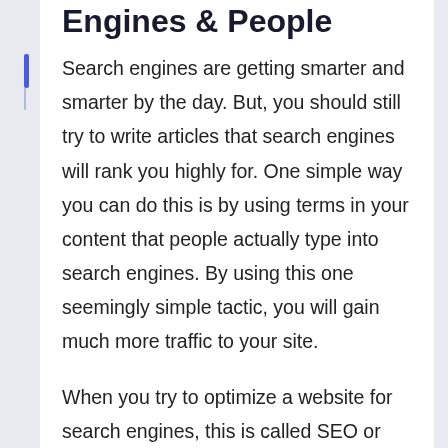Engines & People
Search engines are getting smarter and smarter by the day. But, you should still try to write articles that search engines will rank you highly for. One simple way you can do this is by using terms in your content that people actually type into search engines. By using this one seemingly simple tactic, you will gain much more traffic to your site.
When you try to optimize a website for search engines, this is called SEO or Search Engine Optimization. Not sure what SEO means? Not a problem. Head